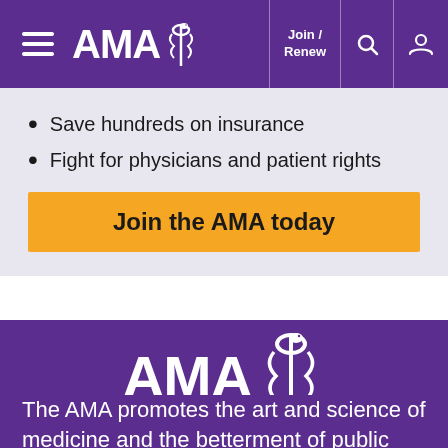[Figure (logo): AMA (American Medical Association) header navigation bar with hamburger menu, AMA logo with caduceus, Join/Renew link, search icon, and user account icon on purple background]
Save hundreds on insurance
Fight for physicians and patient rights
Join the AMA today
[Figure (logo): Large AMA logo with caduceus/snake symbol in white on purple background]
The AMA promotes the art and science of medicine and the betterment of public health.